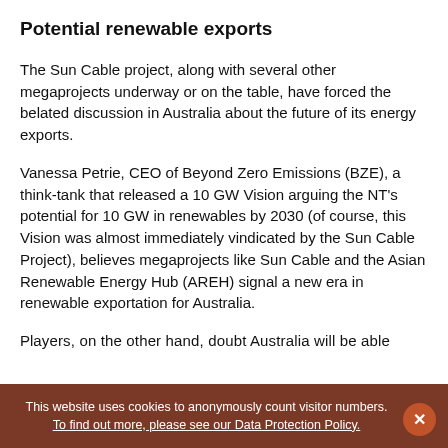Potential renewable exports
The Sun Cable project, along with several other megaprojects underway or on the table, have forced the belated discussion in Australia about the future of its energy exports.
Vanessa Petrie, CEO of Beyond Zero Emissions (BZE), a think-tank that released a 10 GW Vision arguing the NT's potential for 10 GW in renewables by 2030 (of course, this Vision was almost immediately vindicated by the Sun Cable Project), believes megaprojects like Sun Cable and the Asian Renewable Energy Hub (AREH) signal a new era in renewable exportation for Australia.
Pl...
This website uses cookies to anonymously count visitor numbers. To find out more, please see our Data Protection Policy.